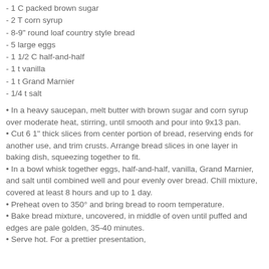- 1 C packed brown sugar
- 2 T corn syrup
- 8-9" round loaf country style bread
- 5 large eggs
- 1 1/2 C half-and-half
- 1 t vanilla
- 1 t Grand Marnier
- 1/4 t salt
• In a heavy saucepan, melt butter with brown sugar and corn syrup over moderate heat, stirring, until smooth and pour into 9x13 pan.
• Cut 6 1" thick slices from center portion of bread, reserving ends for another use, and trim crusts. Arrange bread slices in one layer in baking dish, squeezing together to fit.
• In a bowl whisk together eggs, half-and-half, vanilla, Grand Marnier, and salt until combined well and pour evenly over bread. Chill mixture, covered at least 8 hours and up to 1 day.
• Preheat oven to 350° and bring bread to room temperature.
• Bake bread mixture, uncovered, in middle of oven until puffed and edges are pale golden, 35-40 minutes.
• Serve hot. For a prettier presentation,